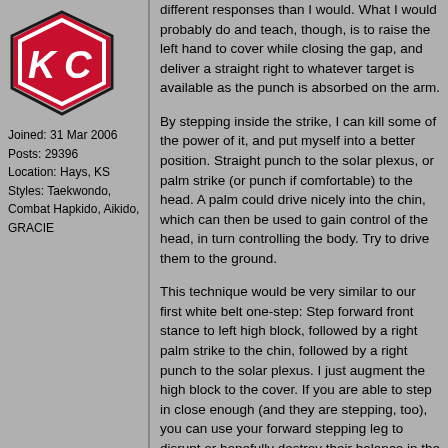[Figure (logo): Kansas City Chiefs logo - red arrowhead with KC letters]
Joined: 31 Mar 2006
Posts: 29396
Location: Hays, KS
Styles: Taekwondo, Combat Hapkido, Aikido, GRACIE
different responses than I would. What I would probably do and teach, though, is to raise the left hand to cover while closing the gap, and deliver a straight right to whatever target is available as the punch is absorbed on the arm.
By stepping inside the strike, I can kill some of the power of it, and put myself into a better position. Straight punch to the solar plexus, or palm strike (or punch if comfortable) to the head. A palm could drive nicely into the chin, which can then be used to gain control of the head, in turn controlling the body. Try to drive them to the ground.
This technique would be very similar to our first white belt one-step: Step forward front stance to left high block, followed by a right palm strike to the chin, followed by a right punch to the solar plexus. I just augment the high block to the cover. If you are able to step in close enough (and they are stepping, too), you can use your forward stepping leg to disrupt or hopefully destroy their balance in the process.
This is just a side note from watching the two videos in the OP, but I didn't like the "cover out," especially crossing the feet. I'd rather assess from where I finish, and if I've already got the distance closed, I don't want to move myself out of position if